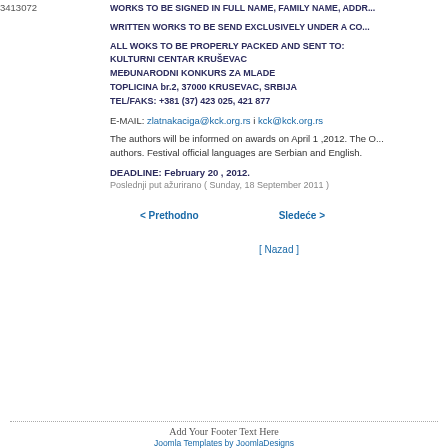3413072
WORKS TO BE SIGNED IN FULL NAME, FAMILY NAME, ADDR...
WRITTEN WORKS TO BE SEND EXCLUSIVELY UNDER A CO...
ALL WOKS TO BE PROPERLY PACKED AND SENT TO:
KULTURNI CENTAR KRUŠEVAC
MEĐUNARODNI KONKURS ZA MLADE
TOPLICINA br.2, 37000 KRUSEVAC, SRBIJA
TEL/FAKS: +381 (37) 423 025, 421 877
E-MAIL: zlatnakaciga@kck.org.rs i kck@kck.org.rs
The authors will be informed on awards on April 1 ,2012. The O... authors. Festival official languages are Serbian and English.
DEADLINE: February 20 , 2012.
Poslednji put ažurirano ( Sunday, 18 September 2011 )
< Prethodno
Sledeće >
[ Nazad ]
Add Your Footer Text Here
Joomla Templates by JoomlaDesigns